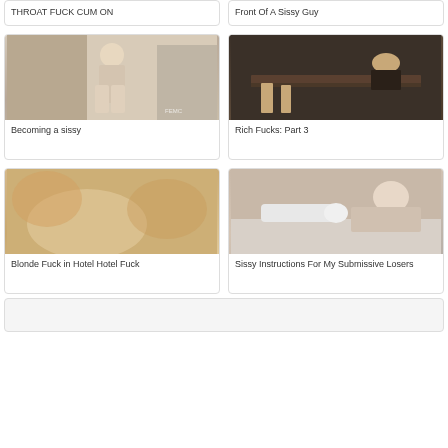THROAT FUCK CUM ON
Front Of A Sissy Guy
[Figure (photo): Person in lingerie standing indoors]
Becoming a sissy
[Figure (photo): Person leaning over a table]
Rich Fucks: Part 3
[Figure (photo): Blurred close-up photo]
Blonde Fuck in Hotel Hotel Fuck
[Figure (photo): Person on bed]
Sissy Instructions For My Submissive Losers